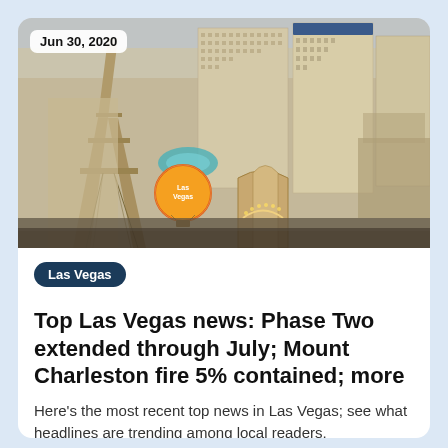[Figure (photo): Aerial view of the Las Vegas Strip showing Paris Las Vegas with Eiffel Tower replica, Bally's, and other casinos. Date badge reads Jun 30, 2020.]
Las Vegas
Top Las Vegas news: Phase Two extended through July; Mount Charleston fire 5% contained; more
Here's the most recent top news in Las Vegas; see what headlines are trending among local readers, with links to full articles.